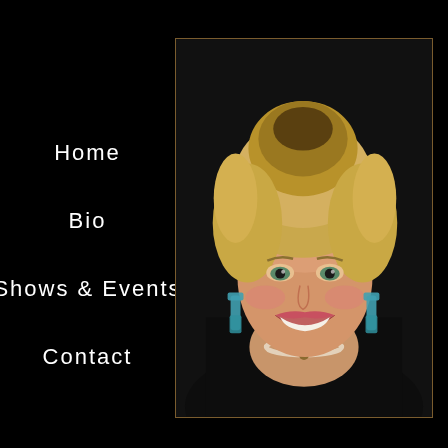Home
Bio
Shows & Events
Contact
[Figure (photo): Portrait photo of a smiling blonde woman with an updo hairstyle, wearing turquoise earrings, a pearl necklace, and a black top, posed against a dark background.]